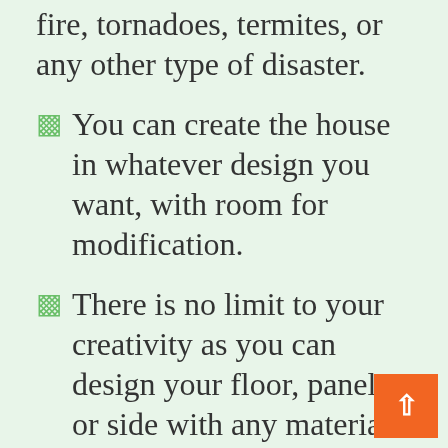fire, tornadoes, termites, or any other type of disaster.
You can create the house in whatever design you want, with room for modification.
There is no limit to your creativity as you can design your floor, panel, or side with any material you like.
When you follow the steps, you save a lot of